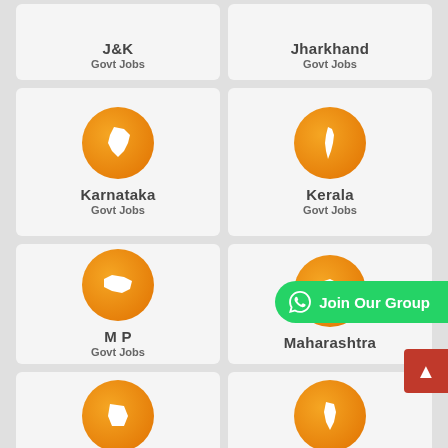[Figure (infographic): J&K Govt Jobs card with orange circle containing state map silhouette]
[Figure (infographic): Jharkhand Govt Jobs card with orange circle containing state map silhouette]
[Figure (infographic): Karnataka Govt Jobs card with orange circle containing state map silhouette]
[Figure (infographic): Kerala Govt Jobs card with orange circle containing state map silhouette]
[Figure (infographic): M P Govt Jobs card with orange circle containing state map silhouette]
[Figure (infographic): Maharashtra Govt Jobs card with orange circle containing state map silhouette (partially obscured by WhatsApp button)]
[Figure (infographic): Manipur Govt Jobs card with orange circle containing state map silhouette (partially visible at bottom)]
[Figure (infographic): Mizoram Govt Jobs card with orange circle containing state map silhouette (partially visible at bottom)]